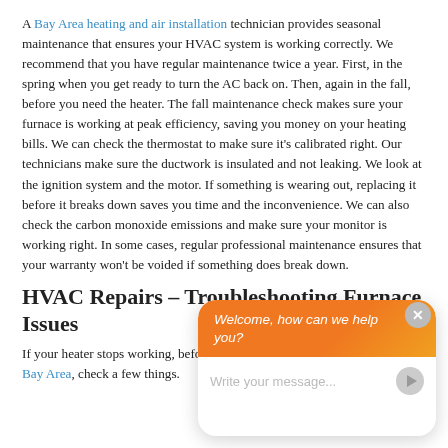A Bay Area heating and air installation technician provides seasonal maintenance that ensures your HVAC system is working correctly. We recommend that you have regular maintenance twice a year. First, in the spring when you get ready to turn the AC back on. Then, again in the fall, before you need the heater. The fall maintenance check makes sure your furnace is working at peak efficiency, saving you money on your heating bills. We can check the thermostat to make sure it's calibrated right. Our technicians make sure the ductwork is insulated and not leaking. We look at the ignition system and the motor. If something is wearing out, replacing it before it breaks down saves you time and the inconvenience. We can also check the carbon monoxide emissions and make sure your monitor is working right. In some cases, regular professional maintenance ensures that your warranty won't be voided if something does break down.
HVAC Repairs – Troubleshooting Furnace Issues
If your heater stops working, before you call your local HVAC repair in the Bay Area, check a few things.